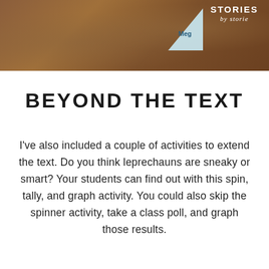[Figure (photo): Wood grain / table surface photo with a partial blue card showing 'Meg...' text in the upper right area, and a 'Stories by Storie' logo watermark in white on the upper right corner.]
BEYOND THE TEXT
I've also included a couple of activities to extend the text. Do you think leprechauns are sneaky or smart? Your students can find out with this spin, tally, and graph activity. You could also skip the spinner activity, take a class poll, and graph those results.